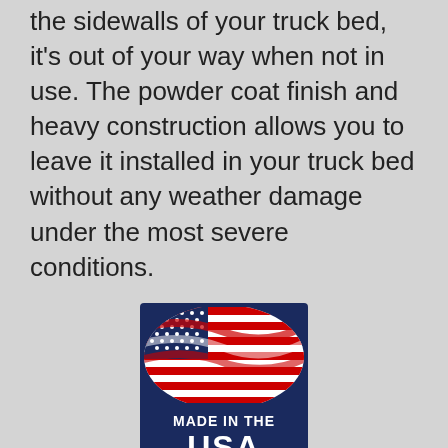the sidewalls of your truck bed, it's out of your way when not in use. The powder coat finish and heavy construction allows you to leave it installed in your truck bed without any weather damage under the most severe conditions.
[Figure (logo): Made in the USA badge with American flag image above text 'MADE IN THE USA' on dark navy blue background]
CargoPost LLC is a family owned local business with a very simple mission: to design, manufacture and sell simple